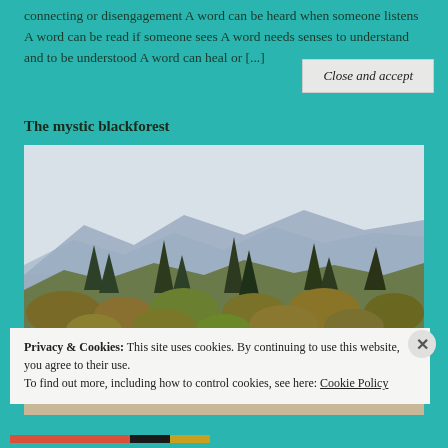connecting or disengagement A word can be heard when someone listens A word can be read if someone sees A word needs senses to understand and to be understood A word can heal or [...]
The mystic blackforest
[Figure (photo): Outdoor landscape photo showing a mountain forest scene with autumn-colored trees, light snow on the ground, and blue-purple mountain ranges in the misty background under an overcast sky.]
Privacy & Cookies:  This site uses cookies. By continuing to use this website, you agree to their use.
To find out more, including how to control cookies, see here: Cookie Policy
Close and accept